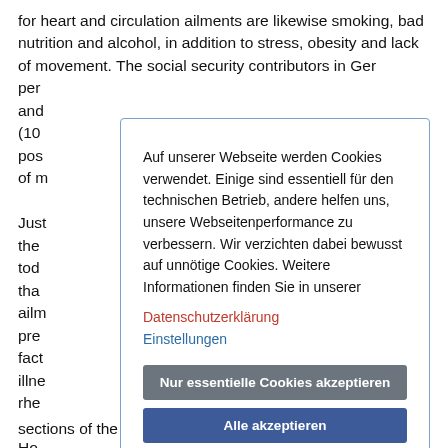for heart and circulation ailments are likewise smoking, bad nutrition and alcohol, in addition to stress, obesity and lack of movement. The social security contributors in Ger[many] per[haps] and (10 pos of m
Auf unserer Webseite werden Cookies verwendet. Einige sind essentiell für den technischen Betrieb, andere helfen uns, unsere Webseitenperformance zu verbessern. Wir verzichten dabei bewusst auf unnötige Cookies. Weitere Informationen finden Sie in unserer Datenschutzerklärung Einstellungen
Nur essentielle Cookies akzeptieren
Alle akzeptieren
Just the tod tha ailm pre fact illne rhe Ho sections of the population to adopt a healthy lifestyle.